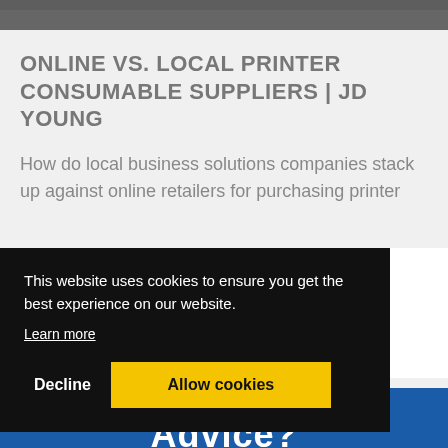[Figure (photo): Top dark image strip showing people in an office environment]
ONLINE VS. LOCAL PRINTER CONSUMABLE SUPPLIERS | JD YOUNG
How do local business solutions companies stack up against online retailers for purchasing printer
This website uses cookies to ensure you get the best experience on our website.
Learn more
Decline
Allow cookies
Advice?